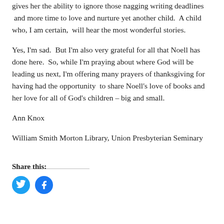gives her the ability to ignore those nagging writing deadlines  and more time to love and nurture yet another child.  A child who, I am certain,  will hear the most wonderful stories.
Yes, I'm sad.  But I'm also very grateful for all that Noell has done here.  So, while I'm praying about where God will be leading us next, I'm offering many prayers of thanksgiving for having had the opportunity  to share Noell's love of books and her love for all of God's children – big and small.
Ann Knox
William Smith Morton Library, Union Presbyterian Seminary
Share this: